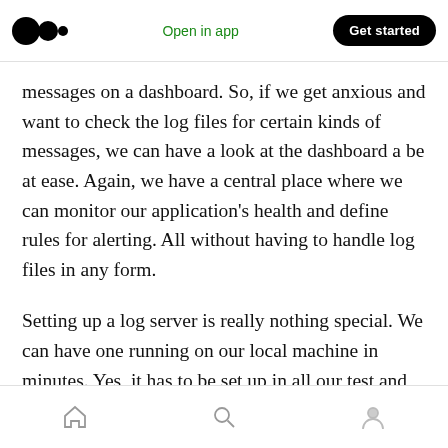Open in app | Get started
messages on a dashboard. So, if we get anxious and want to check the log files for certain kinds of messages, we can have a look at the dashboard a be at ease. Again, we have a central place where we can monitor our application's health and define rules for alerting. All without having to handle log files in any form.
Setting up a log server is really nothing special. We can have one running on our local machine in minutes. Yes, it has to be set up in all our test and production environments. But with today's
Home | Search | Profile